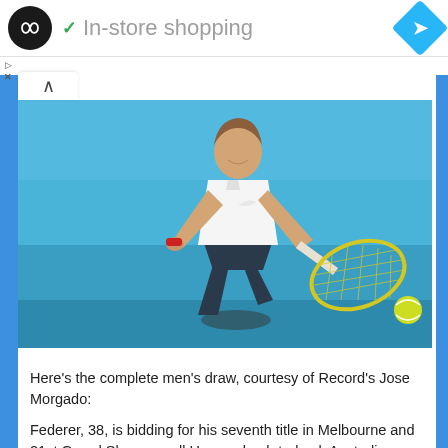In-store shopping
[Figure (photo): Tennis player in white sleeveless shirt hitting a forehand shot with a yellow-strung racket on a blue hard court, holding a yellow tennis ball in follow-through position.]
Here's the complete men's draw, courtesy of Record's Jose Morgado:
Federer, 38, is bidding for his seventh title in Melbourne and 21st Grand Slam overall.He won back-to-back Australian Open titles in 2017 and 2018 before a fourth-round exit at